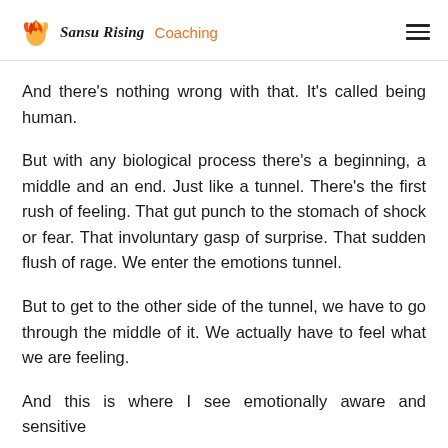Sansu Rising Coaching
And there’s nothing wrong with that. It’s called being human.
But with any biological process there’s a beginning, a middle and an end. Just like a tunnel. There’s the first rush of feeling. That gut punch to the stomach of shock or fear. That involuntary gasp of surprise. That sudden flush of rage. We enter the emotions tunnel.
But to get to the other side of the tunnel, we have to go through the middle of it. We actually have to feel what we are feeling.
And this is where I see emotionally aware and sensitive